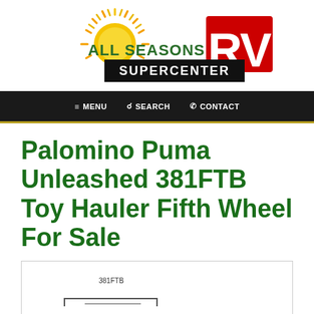[Figure (logo): All Seasons RV Supercenter logo with sun graphic and bold red RV text on black banner]
≡ MENU   🔍 SEARCH   📞 CONTACT
Palomino Puma Unleashed 381FTB Toy Hauler Fifth Wheel For Sale
[Figure (engineering-diagram): Floor plan diagram for the 381FTB model, partially visible with model label and dimension lines]